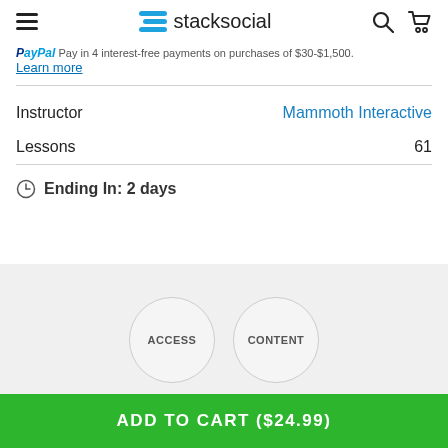stacksocial
Pay in 4 interest-free payments on purchases of $30-$1,500. Learn more
Instructor	Mammoth Interactive
Lessons	61
Ending In: 2 days
ACCESS	CONTENT
ADD TO CART ($24.99)